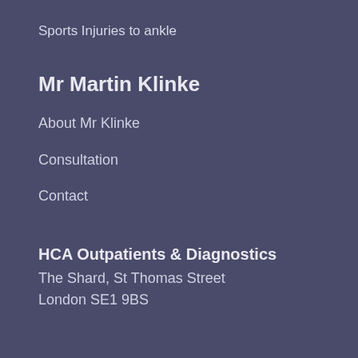Sports Injuries to ankle
Mr Martin Klinke
About Mr Klinke
Consultation
Contact
HCA Outpatients & Diagnostics
The Shard,  St Thomas Street
London SE1 9BS